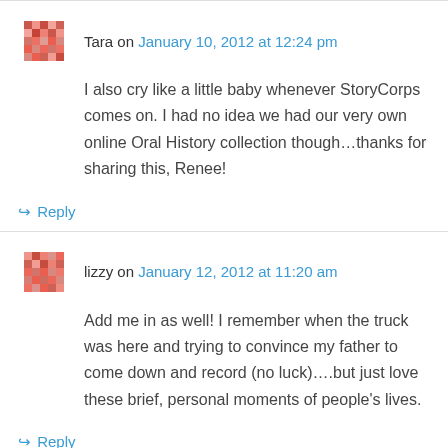Tara on January 10, 2012 at 12:24 pm
I also cry like a little baby whenever StoryCorps comes on. I had no idea we had our very own online Oral History collection though…thanks for sharing this, Renee!
↳ Reply
lizzy on January 12, 2012 at 11:20 am
Add me in as well! I remember when the truck was here and trying to convince my father to come down and record (no luck)….but just love these brief, personal moments of people's lives.
↳ Reply